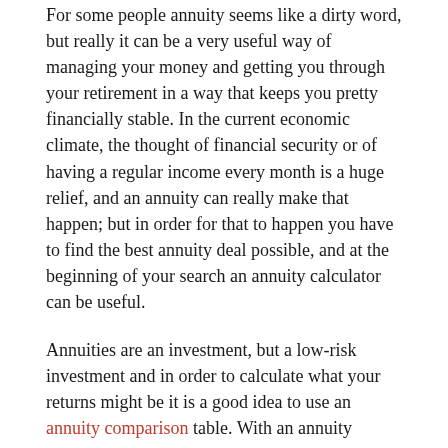For some people annuity seems like a dirty word, but really it can be a very useful way of managing your money and getting you through your retirement in a way that keeps you pretty financially stable. In the current economic climate, the thought of financial security or of having a regular income every month is a huge relief, and an annuity can really make that happen; but in order for that to happen you have to find the best annuity deal possible, and at the beginning of your search an annuity calculator can be useful.
Annuities are an investment, but a low-risk investment and in order to calculate what your returns might be it is a good idea to use an annuity comparison table. With an annuity calculator you input your age, gender, post code and any medical information that is asked for and the annuity calculator will give you an idea of the income you might expect to receive and the annuity rate that you will get. And with annuities, the rates that you get are crucial. When you